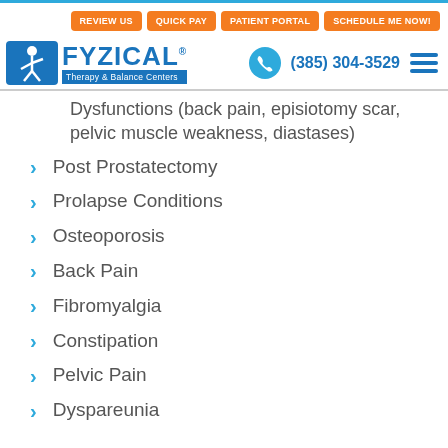REVIEW US | QUICK PAY | PATIENT PORTAL | SCHEDULE ME NOW!
[Figure (logo): FYZICAL Therapy & Balance Centers logo with blue icon and text, plus phone number (385) 304-3529 and hamburger menu]
Dysfunctions (back pain, episiotomy scar, pelvic muscle weakness, diastases)
Post Prostatectomy
Prolapse Conditions
Osteoporosis
Back Pain
Fibromyalgia
Constipation
Pelvic Pain
Dyspareunia